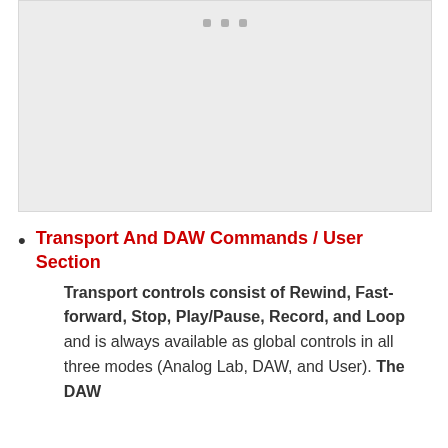[Figure (illustration): Gray placeholder image area with three small gray dots near the top center, representing a product image or diagram.]
Transport And DAW Commands / User Section
Transport controls consist of Rewind, Fast-forward, Stop, Play/Pause, Record, and Loop and is always available as global controls in all three modes (Analog Lab, DAW, and User). The DAW...